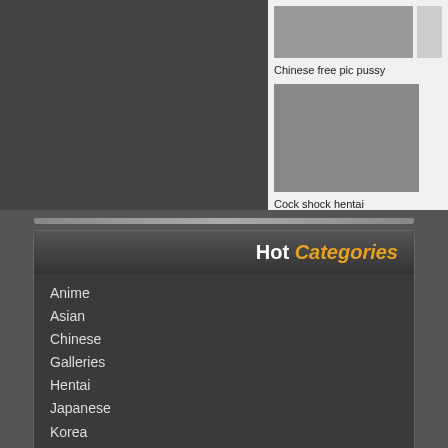[Figure (photo): Thumbnail image - Chinese free pic pussy]
Chinese free pic pussy
[Figure (photo): Thumbnail image - Cock shock hentai]
Cock shock hentai
Hot Categories
Anime
Asian
Chinese
Galleries
Hentai
Japanese
Korea
Latest Comments
+214  Il put some ky jelly on my big ass size dic...